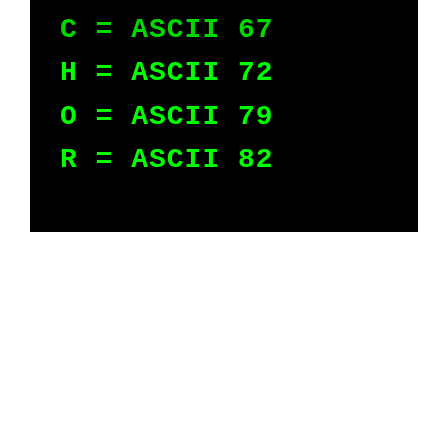[Figure (screenshot): Terminal/console screenshot with black background showing green monospace text. Partially visible first line 'C = ASCII 67', followed by complete lines: 'H = ASCII 72', 'O = ASCII 79', 'R = ASCII 82'. Text represents ASCII values of characters C, H, O, R.]